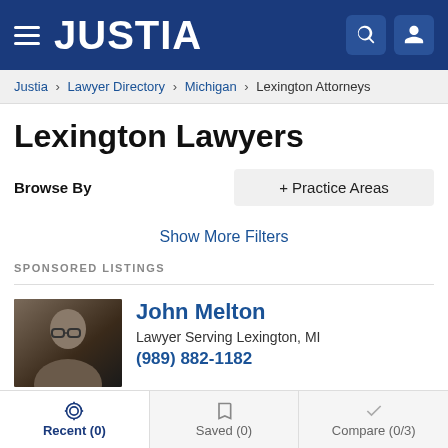JUSTIA
Justia › Lawyer Directory › Michigan › Lexington Attorneys
Lexington Lawyers
Browse By
+ Practice Areas
Show More Filters
SPONSORED LISTINGS
John Melton
Lawyer Serving Lexington, MI
(989) 882-1182
Recent (0)  Saved (0)  Compare (0/3)